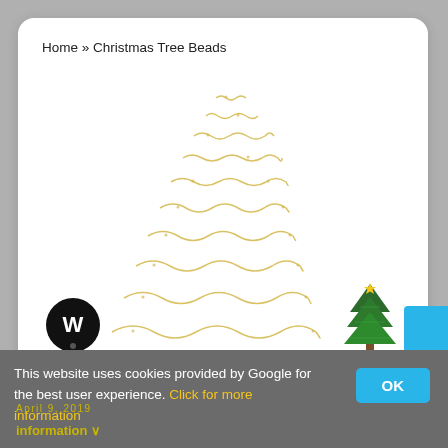Home » Christmas Tree Beads
[Figure (illustration): Abstract Christmas tree shape made of golden/yellow wavy bead strands arranged in layered rows forming a triangle/tree shape, on white background]
[Figure (photo): Small circular black logo with white 'W' lettermark]
[Figure (photo): Small realistic green Christmas tree with star on top]
This website uses cookies provided by Google for the best user experience. Click for more information
April 9, 2019
information ∨